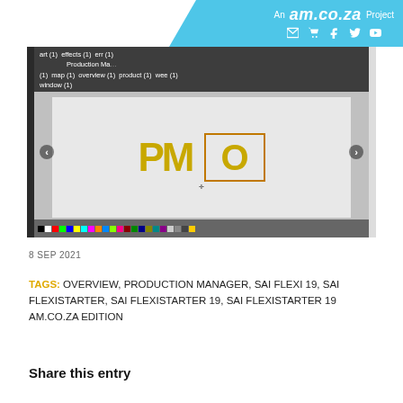An am.co.za Project
[Figure (screenshot): Screenshot of a graphic design application (CorelDRAW or similar) showing a Production Manager interface with PM logo and O letter in orange box, with tags: art (1) effects (1) err (1) Production Manager (1) map (1) overview (1) product (1) wee (1) window (1)]
8 SEP 2021
TAGS: OVERVIEW, PRODUCTION MANAGER, SAI FLEXI 19, SAI FLEXISTARTER, SAI FLEXISTARTER 19, SAI FLEXISTARTER 19 AM.CO.ZA EDITION
Share this entry